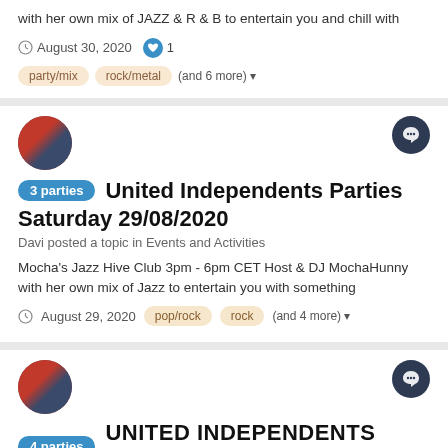with her own mix of JAZZ & R & B to entertain you and chill with
August 30, 2020  ♥ 1
party/mix  rock/metal  (and 6 more)
[Figure (photo): Avatar showing two women, one with red hair]
3 parties  United Independents Parties Saturday 29/08/2020
Davi posted a topic in Events and Activities
Mocha's Jazz Hive Club 3pm - 6pm CET Host & DJ MochaHunny with her own mix of Jazz to entertain you with something
August 29, 2020  pop/rock  rock  (and 4 more)
[Figure (photo): Avatar showing two women, one with red hair]
4 parties  UNITED INDEPENDENTS PARTIES